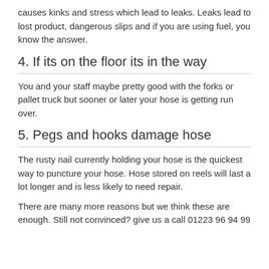causes kinks and stress which lead to leaks. Leaks lead to lost product, dangerous slips and if you are using fuel, you know the answer.
4. If its on the floor its in the way
You and your staff maybe pretty good with the forks or pallet truck but sooner or later your hose is getting run over.
5. Pegs and hooks damage hose
The rusty nail currently holding your hose is the quickest way to puncture your hose. Hose stored on reels will last a lot longer and is less likely to need repair.
There are many more reasons but we think these are enough. Still not convinced? give us a call 01223 96 94 99